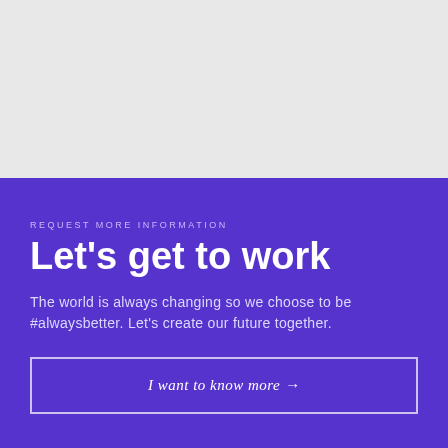[Figure (other): Light gray background area occupying the top portion of the page]
REQUEST MORE INFORMATION
Let's get to work
The world is always changing so we choose to be #alwaysbetter. Let's create our future together.
I want to know more →